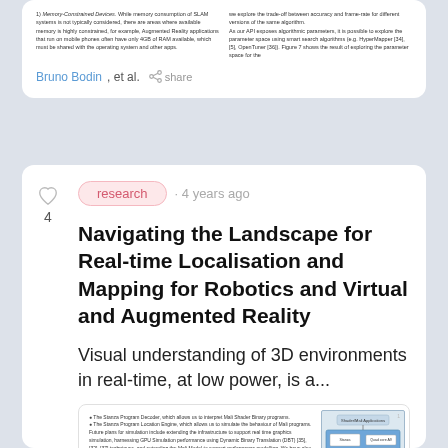1) Memory-Constrained Devices. While memory consumption of SLAM systems is not typically considered, there are areas where available memory is highly constrained, for example, Augmented Reality applications that run on mobile phones often have only 4GB of RAM available, which must be shared with the operating system and other apps. we explore the trade-off between accuracy and frame-rate for different versions of the same algorithm. As our API exposes algorithmic parameters, it is possible to explore the parameter space using smart search algorithms (e.g. HyperMapper [34], [5], OpenTuner [36]). Figure 7 shows the result of exploring the parameter space for the
Bruno Bodin, et al. · share
research · 4 years ago
Navigating the Landscape for Real-time Localisation and Mapping for Robotics and Virtual and Augmented Reality
Visual understanding of 3D environments in real-time, at low power, is a...
The Stanza Program Decoder, which allows us to interpret Mali Shader Binary programs. The Stanza Program Location Engine, which allows us to simulate the behaviour of Mali programs. Future plans for simulation include extending the infrastructure to support real time graphics simulation, harnessing GPU Simulation performance using Dynamic Binary Translation (DBT) [35], [32], [37] techniques, and extending the Mali Model to support performance modelling. We have also continued to investigate new techniques for full system dynamic
[Figure (schematic): Block diagram showing Mali shader architecture with Shader/Mali Applications at top and internal components including Stanza and Hardware Rendering on Zynq SoC]